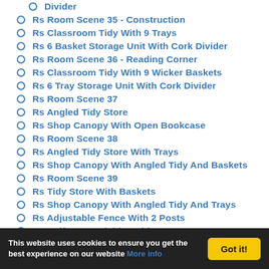Divider
Rs Room Scene 35 - Construction
Rs Classroom Tidy With 9 Trays
Rs 6 Basket Storage Unit With Cork Divider
Rs Room Scene 36 - Reading Corner
Rs Classroom Tidy With 9 Wicker Baskets
Rs 6 Tray Storage Unit With Cork Divider
Rs Room Scene 37
Rs Angled Tidy Store
Rs Shop Canopy With Open Bookcase
Rs Room Scene 38
Rs Angled Tidy Store With Trays
Rs Shop Canopy With Angled Tidy And Baskets
Rs Room Scene 39
Rs Tidy Store With Baskets
Rs Shop Canopy With Angled Tidy And Trays
Rs Adjustable Fence With 2 Posts
Rs Half Fence Divider With 2 Posts
Rs Adjustable Panel With 2 Posts
Rs 90 Degree Standard Connecting Posts
This website uses cookies to ensure you get the best experience on our website More info
Got it!